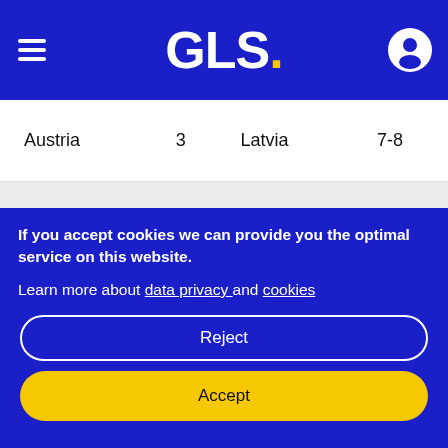[Figure (logo): GLS logo — white bold text 'GLS.' with yellow dot on blue background, hamburger menu icon on left, user account icon on right]
| Austria | 3 | Latvia | 7-8 |
If you accept cookies we can provide you the optimal service on this website.

Learn more about data privacy and cookies
Reject
Accept